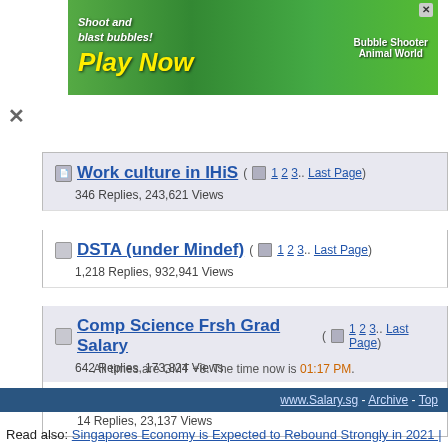[Figure (screenshot): Advertisement banner: green bubble shooter game ad with 'Shoot and blast bubbles! Play Now' text and animal characters]
Work culture in IHiS ( 1 2 3.. Last Page ) — 346 Replies, 243,621 Views
DSTA (under Mindef) ( 1 2 3.. Last Page ) — 1,218 Replies, 932,941 Views
Comp Science Frsh Grad Salary ( 1 2 3.. Last Page ) — 642 Replies, 173,824 Views
DSTA or CSIT ( 1 2 ) — 14 Replies, 23,137 Views
All times are GMT +8. The time now is 01:17 PM.
www.Salary.sg - Archive - Top
Read also: Singapores Economy is Expected to Rebound Strongly in 2021 |